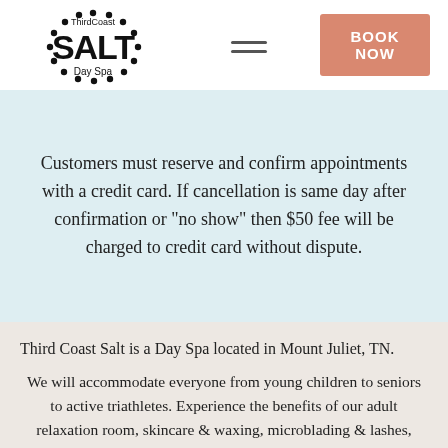[Figure (logo): Third Coast Salt Day Spa circular logo with dotted border and bold SALT text]
Customers must reserve and confirm appointments with a credit card.  If cancellation is same day after confirmation or "no show" then $50 fee will be charged to credit card without dispute.
Third Coast Salt is a Day Spa located in Mount Juliet, TN.
We will accommodate everyone from young children to seniors to active triathletes.  Experience the benefits of our adult relaxation room, skincare & waxing, microblading & lashes, massage therapy, reiki therapy & sweat therapy as